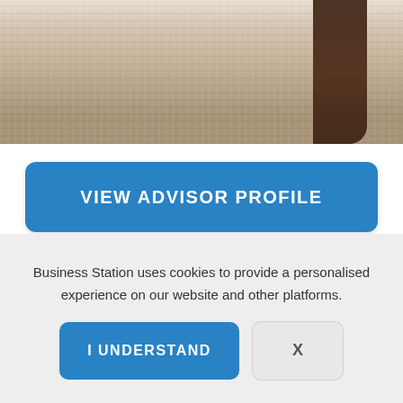[Figure (photo): Partial photo of a woman wearing a cream/beige knit sweater with dark brown hair visible on the right side. Only the torso and lower face/neck area are visible — the top of the image is cropped.]
VIEW ADVISOR PROFILE
STILL GOT QUESTIONS?
Business Station uses cookies to provide a personalised experience on our website and other platforms.
I UNDERSTAND
X